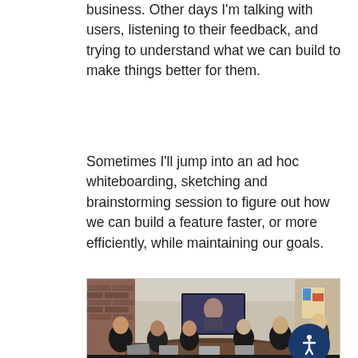business. Other days I'm talking with users, listening to their feedback, and trying to understand what we can build to make things better for them.
Sometimes I'll jump into an ad hoc whiteboarding, sketching and brainstorming session to figure out how we can build a feature faster, or more efficiently, while maintaining our goals.
[Figure (photo): A group of people sitting around a conference table in a meeting room, with laptops open, watching a video call displayed on a large screen at the front of the room. Brick wall visible on the left, colorful artwork on the right.]